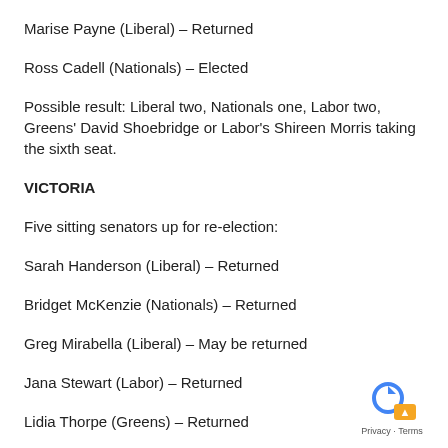Marise Payne (Liberal) – Returned
Ross Cadell (Nationals) – Elected
Possible result: Liberal two, Nationals one, Labor two, Greens' David Shoebridge or Labor's Shireen Morris taking the sixth seat.
VICTORIA
Five sitting senators up for re-election:
Sarah Handerson (Liberal) – Returned
Bridget McKenzie (Nationals) – Returned
Greg Mirabella (Liberal) – May be returned
Jana Stewart (Labor) – Returned
Lidia Thorpe (Greens) – Returned